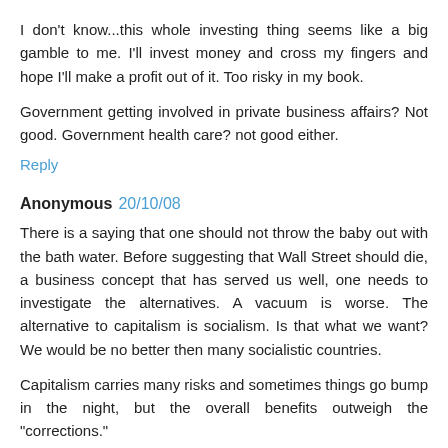I don't know...this whole investing thing seems like a big gamble to me. I'll invest money and cross my fingers and hope I'll make a profit out of it. Too risky in my book.
Government getting involved in private business affairs? Not good. Government health care? not good either.
Reply
Anonymous 20/10/08
There is a saying that one should not throw the baby out with the bath water. Before suggesting that Wall Street should die, a business concept that has served us well, one needs to investigate the alternatives. A vacuum is worse. The alternative to capitalism is socialism. Is that what we want? We would be no better then many socialistic countries.
Capitalism carries many risks and sometimes things go bump in the night, but the overall benefits outweigh the "corrections."